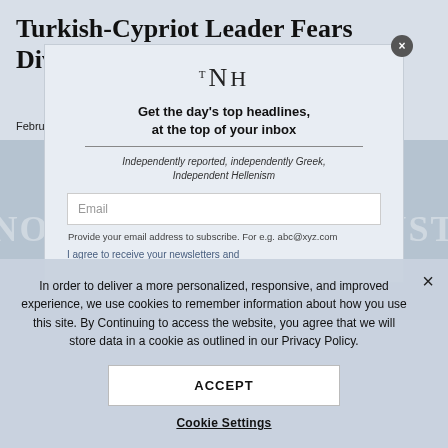Turkish-Cypriot Leader Fears Divided Island Now Split Forever
February 6, 2020 | TNH Staff
[Figure (screenshot): Faded background image with watermark text 'NO CULTURE NO TRUST']
[Figure (screenshot): Newsletter modal overlay with TNH logo, headline 'Get the day's top headlines, at the top of your inbox', email input field, and subscription text]
In order to deliver a more personalized, responsive, and improved experience, we use cookies to remember information about how you use this site. By Continuing to access the website, you agree that we will store data in a cookie as outlined in our Privacy Policy.
ACCEPT
Cookie Settings